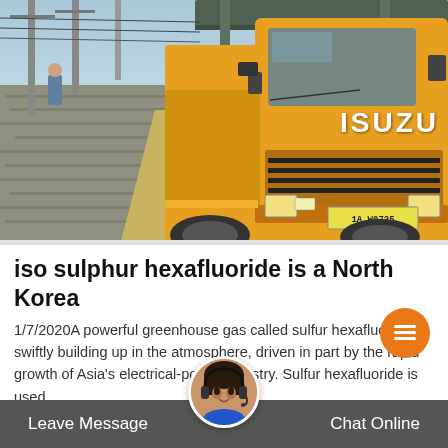[Figure (photo): A yellow Isuzu truck parked at what appears to be an electrical substation or industrial facility. The truck is viewed from the front-left angle. There are utility poles and wires visible on the left side, and a canopy structure above. The license plate reads 1A W0725.]
iso sulphur hexafluoride is a North Korea
1/7/2020A powerful greenhouse gas called sulfur hexafluoride is swiftly building up in the atmosphere, driven in part by the rapid growth of Asia's electrical-power industry. Sulfur hexafluoride is used